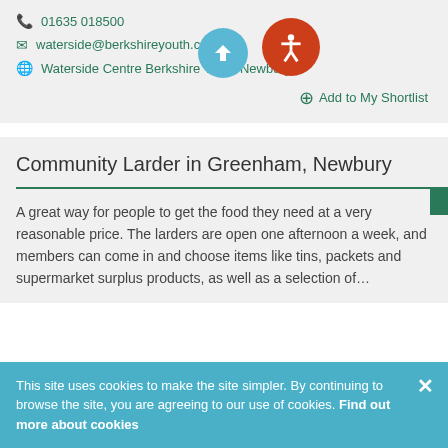📞 01635 018500
✉ waterside@berkshireyouth.co.uk
🌐 Waterside Centre Berkshire Youth Newbury
⊕ Add to My Shortlist
Community Larder in Greenham, Newbury
A great way for people to get the food they need at a very reasonable price. The larders are open one afternoon a week, and members can come in and choose items like tins, packets and supermarket surplus products, as well as a selection of…
This site uses cookies to make the site simpler. By continuing to browse the site, you are agreeing to our use of cookies. Find out more about cookies